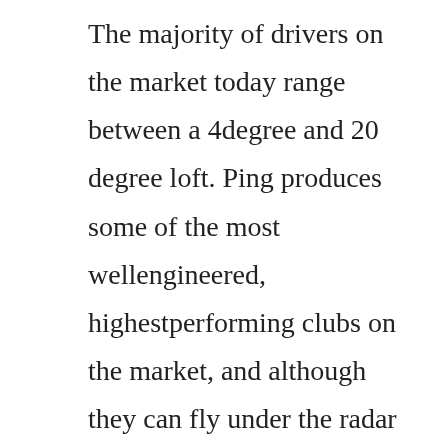The majority of drivers on the market today range between a 4degree and 20 degree loft. Ping produces some of the most wellengineered, highestperforming clubs on the market, and although they can fly under the radar at times, the g20 driver should certainly grab your attention with its performance. Customized performance the m2 is equipped with a new 4 aluminum loft sleeve featuring 12 easily adjustable settings. If you are a beginner golfer we would typically recommend a driver with a high loft angle of between 1214 if you are looking to